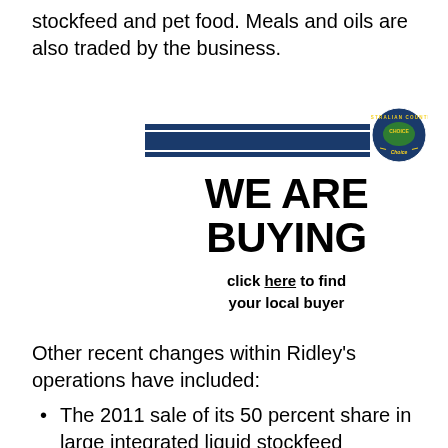stockfeed and pet food. Meals and oils are also traded by the business.
[Figure (logo): Australian Country Choice logo badge with circular design, map of Australia, blue and yellow colors. Below it are two horizontal navy blue stripes with 'WE ARE BUYING' in large bold black text, and 'click here to find your local buyer' in bold text below.]
Other recent changes within Ridley's operations have included:
The 2011 sale of its 50 percent share in large integrated liquid stockfeed supplement